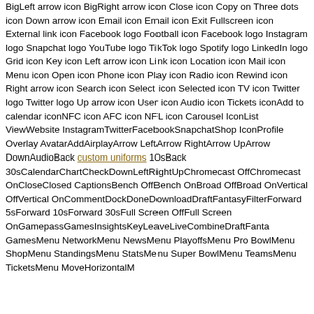BigLeft arrow icon BigRight arrow icon Close icon Copy on Three dots icon Down arrow icon Email icon Email icon Exit Fullscreen icon External link icon Facebook logo Football icon Facebook logo Instagram logo Snapchat logo YouTube logo TikTok logo Spotify logo LinkedIn logo Grid icon Key icon Left arrow icon Link icon Location icon Mail icon Menu icon Open icon Phone icon Play icon Radio icon Rewind icon Right arrow icon Search icon Select icon Selected icon TV icon Twitter logo Twitter logo Up arrow icon User icon Audio icon Tickets iconAdd to calendar iconNFC icon AFC icon NFL icon Carousel IconList ViewWebsite InstagramTwitterFacebookSnapchatShop IconProfile Overlay AvatarAddAirplayArrow LeftArrow RightArrow UpArrow DownAudioBack custom uniforms 10sBack 30sCalendarChartCheckDownLeftRightUpChromecast OffChromecast OnCloseClosed CaptionsBench OffBench OnBroad OffBroad OnVertical OffVertical OnCommentDockDoneDownloadDraftFantasyFilterForward 5sForward 10sForward 30sFull Screen OffFull Screen OnGamepassGamesInsightsKeyLeaveLiveCombineDraftFanta GamesMenu NetworkMenu NewsMenu PlayoffsMenu Pro BowlMenu ShopMenu StandingsMenu StatsMenu Super BowlMenu TeamsMenu TicketsMenu MoveHorizontalM